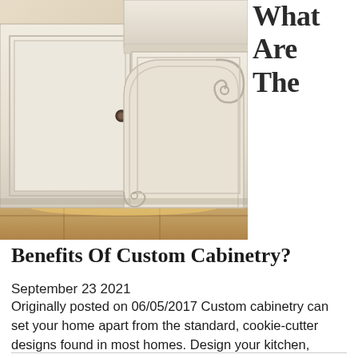[Figure (photo): Close-up of ornate white painted custom kitchen cabinetry with decorative corbel scroll detail and raised panel door, warm tile floor visible at bottom]
What Are The Benefits Of Custom Cabinetry?
September 23 2021
Originally posted on 06/05/2017 Custom cabinetry can set your home apart from the standard, cookie-cutter designs found in most homes. Design your kitchen, bathroom, bedroom, or any room for that matter with your organizational needs and... Read More...